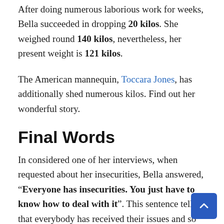After doing numerous laborious work for weeks, Bella succeeded in dropping 20 kilos. She weighed round 140 kilos, nevertheless, her present weight is 121 kilos.
The American mannequin, Toccara Jones, has additionally shed numerous kilos. Find out her wonderful story.
Final Words
In considered one of her interviews, when requested about her insecurities, Bella answered, “Everyone has insecurities. You just have to know how to deal with it”. This sentence tells us that everybody has received their issues and so there’s nothing unusual